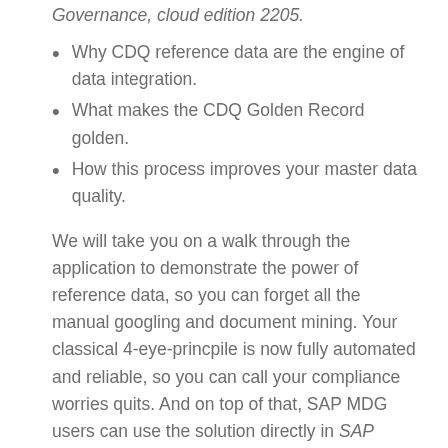Governance, cloud edition 2205.
Why CDQ reference data are the engine of data integration.
What makes the CDQ Golden Record golden.
How this process improves your master data quality.
We will take you on a walk through the application to demonstrate the power of reference data, so you can forget all the manual googling and document mining. Your classical 4-eye-princpile is now fully automated and reliable, so you can call your compliance worries quits. And on top of that, SAP MDG users can use the solution directly in SAP Master Data Governance, cloud edition 2205, so you can let go all the hassle around integration effort.
Ever feel like onboarding new business partners in your